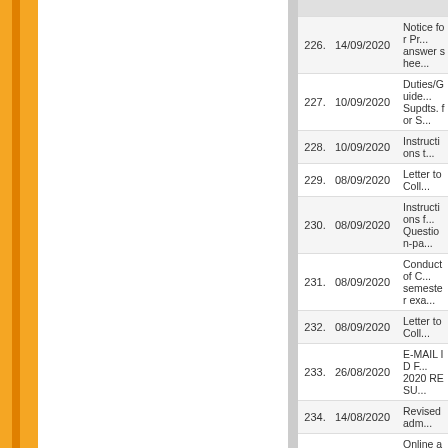| No. | Date | Description |
| --- | --- | --- |
| 226. | 14/09/2020 | Notice for Pr... answer shee... |
| 227. | 10/09/2020 | Duties/Guide... Supdts. for S... |
| 228. | 10/09/2020 | Instructions t... |
| 229. | 08/09/2020 | Letter to Coll... |
| 230. | 08/09/2020 | Instructions f... Question-pa... |
| 231. | 08/09/2020 | Conduct of C... semester exa... |
| 232. | 08/09/2020 | Letter to Coll... |
| 233. | 26/08/2020 | E-MAIL ID F... 2020 RESU... |
| 234. | 14/08/2020 | Revised adm... |
| 235. | 11/08/2020 | Online admis... years Integra... |
| 236. | 04/08/2020 | Online subm... |
| 237. | 30/07/2020 | Steps for On... Depository (... |
| 238. | 21/07/2020 | Regarding... |